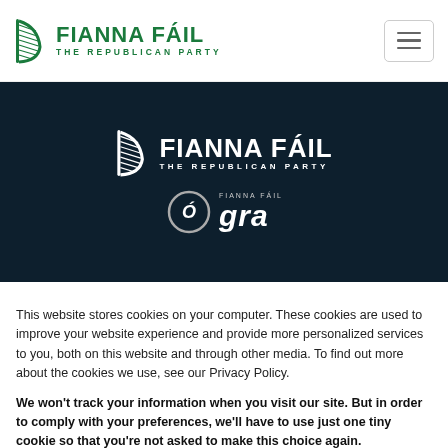[Figure (logo): Fianna Fáil – The Republican Party logo in green with harp icon, in website header]
[Figure (logo): Fianna Fáil – The Republican Party white logo with harp icon on dark navy background]
[Figure (logo): Ógra Fianna Fáil logo on dark navy background]
This website stores cookies on your computer. These cookies are used to improve your website experience and provide more personalized services to you, both on this website and through other media. To find out more about the cookies we use, see our Privacy Policy.
We won't track your information when you visit our site. But in order to comply with your preferences, we'll have to use just one tiny cookie so that you're not asked to make this choice again.